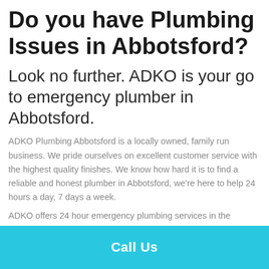Do you have Plumbing Issues in Abbotsford?
Look no further. ADKO is your go to emergency plumber in Abbotsford.
ADKO Plumbing Abbotsford is a locally owned, family run business. We pride ourselves on excellent customer service with the highest quality finishes. We know how hard it is to find a reliable and honest plumber in Abbotsford, we’re here to help 24 hours a day, 7 days a week.
ADKO offers 24 hour emergency plumbing services in the Abbotsford area. We are available 24 hours a day and offer
Call Us